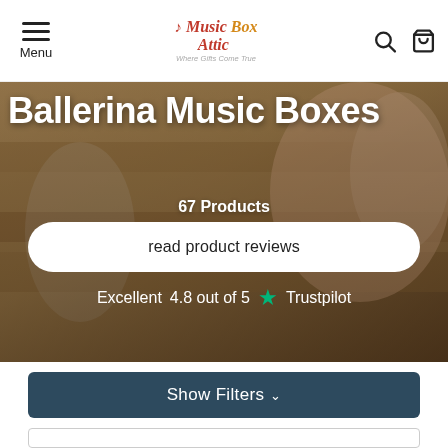Menu | Music Box Attic | Search | Cart
Ballerina Music Boxes
67 Products
read product reviews
Excellent  4.8 out of 5  ★  Trustpilot
Show Filters ∨